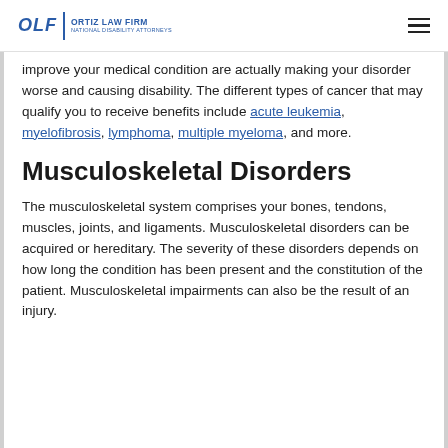OLF | ORTIZ LAW FIRM NATIONAL DISABILITY ATTORNEYS
improve your medical condition are actually making your disorder worse and causing disability. The different types of cancer that may qualify you to receive benefits include acute leukemia, myelofibrosis, lymphoma, multiple myeloma, and more.
Musculoskeletal Disorders
The musculoskeletal system comprises your bones, tendons, muscles, joints, and ligaments. Musculoskeletal disorders can be acquired or hereditary. The severity of these disorders depends on how long the condition has been present and the constitution of the patient. Musculoskeletal impairments can also be the result of an injury.